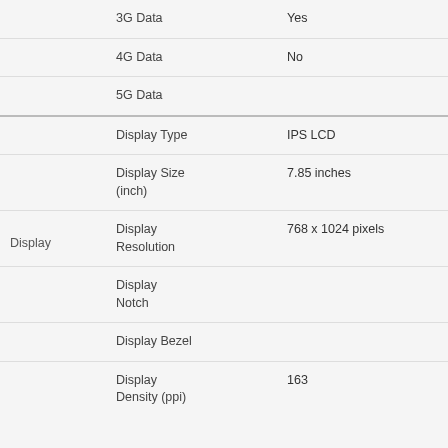| Category | Specification | Value |
| --- | --- | --- |
| Network | 3G Data | Yes |
|  | 4G Data | No |
|  | 5G Data |  |
| Display | Display Type | IPS LCD |
|  | Display Size (inch) | 7.85 inches |
|  | Display Resolution | 768 x 1024 pixels |
| Display | Display Notch |  |
|  | Display Bezel |  |
|  | Display Density (ppi) | 163 |